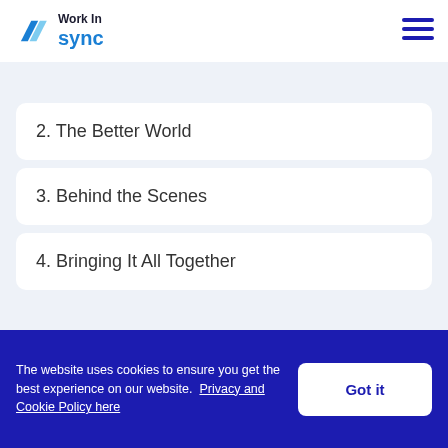[Figure (logo): WorkInSync logo with blue arrow/parallelogram icon and text 'Work In sync' in dark and blue colors]
[Figure (other): Hamburger menu icon (three horizontal dark blue lines)]
2. The Better World
3. Behind the Scenes
4. Bringing It All Together
The website uses cookies to ensure you get the best experience on our website. Privacy and Cookie Policy here
Got it